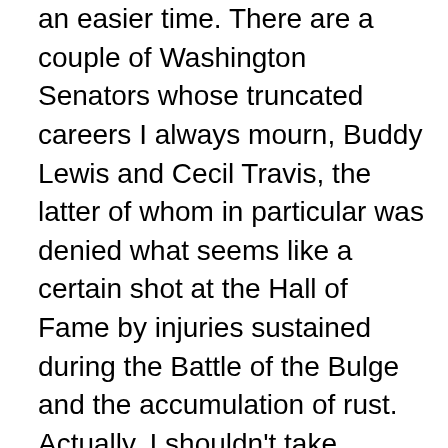an easier time. There are a couple of Washington Senators whose truncated careers I always mourn, Buddy Lewis and Cecil Travis, the latter of whom in particular was denied what seems like a certain shot at the Hall of Fame by injuries sustained during the Battle of the Bulge and the accumulation of rust. Actually, I shouldn't take anything away from Lewis, who already had 1112 hits when he was drafted after his age-24 season. By comparison, Derek Jeter had only 588 hits at the same point in his career. But I digress—the point is that it is hard to come back.

Sourpuss that I am, I feel obligated to say, one last time, enjoy this while it lasts. Maybe the stem cells, nanites, gremlins, rebuilt Colon's innards, but they didn't leave a warrantee card. Colon wasn't off fighting a war, but he had spent most of 2006 through 2010